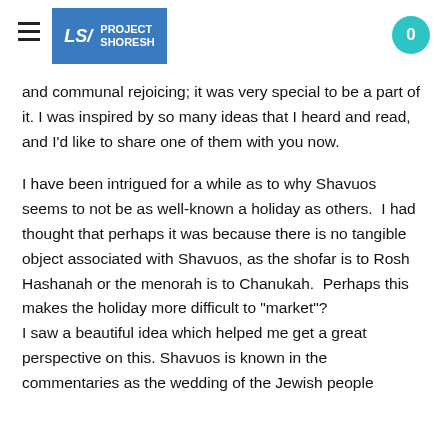Project Shoresh | 0
and communal rejoicing; it was very special to be a part of it. I was inspired by so many ideas that I heard and read, and I'd like to share one of them with you now.
I have been intrigued for a while as to why Shavuos seems to not be as well-known a holiday as others.  I had thought that perhaps it was because there is no tangible object associated with Shavuos, as the shofar is to Rosh Hashanah or the menorah is to Chanukah.  Perhaps this makes the holiday more difficult to "market"? I saw a beautiful idea which helped me get a great perspective on this. Shavuos is known in the commentaries as the wedding of the Jewish people